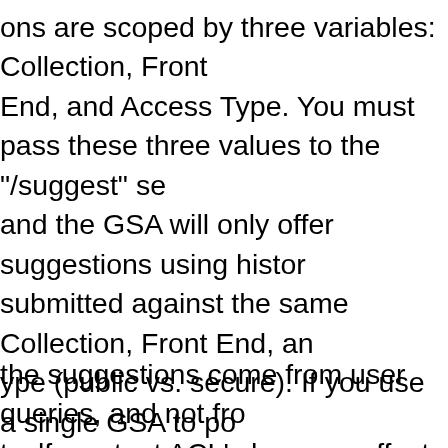ons are scoped by three variables: Collection, Front End, and Access Type. You must pass these three values to the "/suggest" service call, and the GSA will only offer suggestions using history of queries submitted against the same Collection, Front End, and Access Type (public vs. secure).  If you use a single GSA to power multiple sites, or you use different Front Ends to tailor the experience for different audiences, scoping prevents one site or audience from bleeding over as suggestions to another site or audience.  However, no further security or scoping is done on the suggestions.  All queries submitted to a certain Collection, Front End, and Access type are eligible to be returned to any user in the same scope.
the suggestions come from user queries, and not from the content itself, content ACL's have no effect on the suggestions.